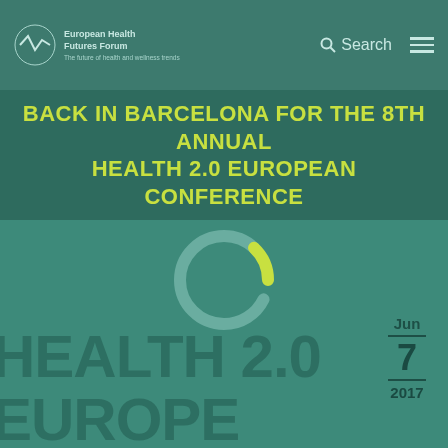European Health Futures Forum — Search / Menu
BACK IN BARCELONA FOR THE 8TH ANNUAL HEALTH 2.0 EUROPEAN CONFERENCE
[Figure (other): Circular loading spinner / donut ring with yellow-green arc and grey arc on teal background]
HEALTH 2.0 EUROPE
Jun — 7 — 2017